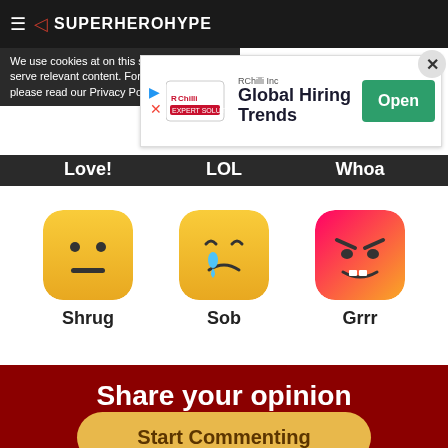SuperHeroHype
We use cookies at on this site so we can serve relevant content. For more information please read our Privacy Policy
[Figure (screenshot): RChilli Inc advertisement banner for Global Hiring Trends with an Open button]
Cookie Information Policy
Love!    LOL    Whoa
[Figure (illustration): Three emoji reaction icons: Shrug (neutral face yellow), Sob (crying face yellow), Grrr (angry face red/pink gradient) with labels below]
Shrug    Sob    Grrr
Share your opinion
Start Commenting